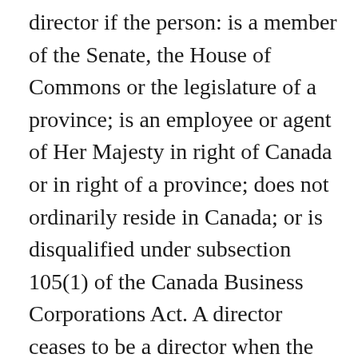director if the person: is a member of the Senate, the House of Commons or the legislature of a province; is an employee or agent of Her Majesty in right of Canada or in right of a province; does not ordinarily reside in Canada; or is disqualified under subsection 105(1) of the Canada Business Corporations Act. A director ceases to be a director when the director: dies; resigns; is appointed to the Senate; is elected to the House of Commons or to the legislature of a province; becomes an employee or agent of Her Majesty in right of Canada or in right of a province; ceases to be ordinarily resident in